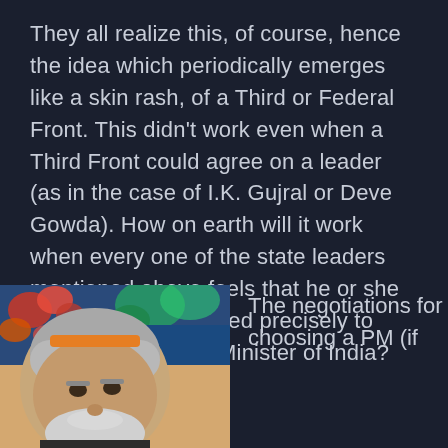They all realize this, of course, hence the idea which periodically emerges like a skin rash, of a Third or Federal Front. This didn't work even when a Third Front could agree on a leader (as in the case of I.K. Gujral or Deve Gowda). How on earth will it work when every one of the state leaders mentioned above feels that he or she has been reincarnated precisely to become the Prime Minister of India?
[Figure (photo): Close-up photograph of a man with white hair and beard, wearing formal attire, with colorful flowers and blue background behind him — appears to be a political figure.]
The negotiations for choosing a PM (if